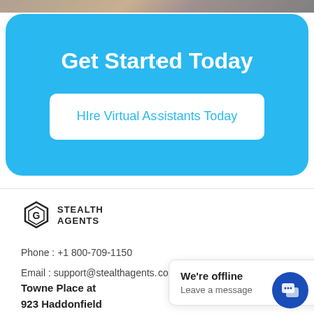[Figure (photo): Top strip showing partial image of people]
Get Started Today
Hire Virtual Assistants Today
[Figure (logo): Stealth Agents logo with hexagon icon]
Phone : +1 800-709-1150
Email : support@stealthagents.com
Towne Place at
923 Haddonfield
We're offline
Leave a message